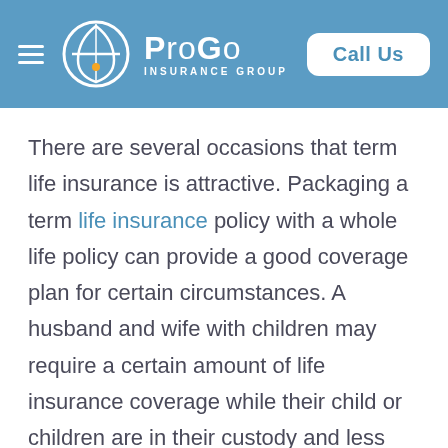ProGo Insurance Group — Call Us
There are several occasions that term life insurance is attractive. Packaging a term life insurance policy with a whole life policy can provide a good coverage plan for certain circumstances. A husband and wife with children may require a certain amount of life insurance coverage while their child or children are in their custody and less after college or when the kids move out. A term life insurance policy can provide adequate coverage that expires in and